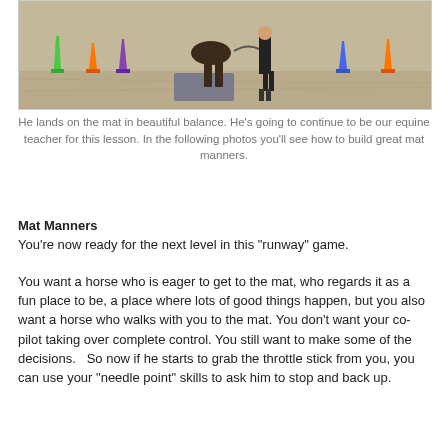[Figure (photo): A horse standing on a mat in a sandy arena with colorful traffic cones around it and a person standing nearby holding a lead rope.]
He lands on the mat in beautiful balance.  He’s going to continue to be our equine teacher for this lesson.  In the following photos you’ll see how to build great mat manners.
Mat Manners
You’re now ready for the next level in this “runway” game.
You want a horse who is eager to get to the mat, who regards it as a fun place to be, a place where lots of good things happen, but you also want a horse who walks with you to the mat.  You don’t want your co-pilot taking over complete control.  You still want to make some of the decisions.   So now if he starts to grab the throttle stick from you, you can use your “needle point” skills to ask him to stop and back up.